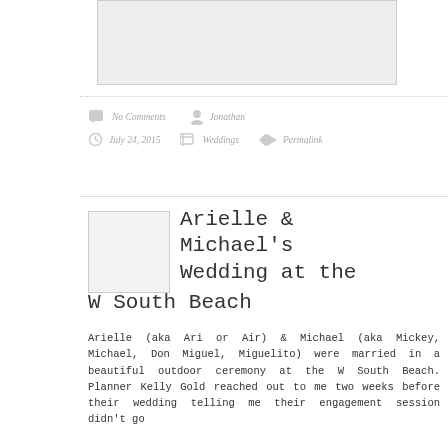[Figure (photo): Rectangular image placeholder (light gray background)]
No Comments   Jonathan
July 24, 2015   Weddings   Permalink
[Figure (photo): Small square thumbnail placeholder]
Arielle & Michael's Wedding at the W South Beach
Arielle (aka Ari or Air) & Michael (aka Mickey, Michael, Don Miguel, Miguelito) were married in a beautiful outdoor ceremony at the W South Beach. Planner Kelly Gold reached out to me two weeks before their wedding telling me their engagement session didn't go